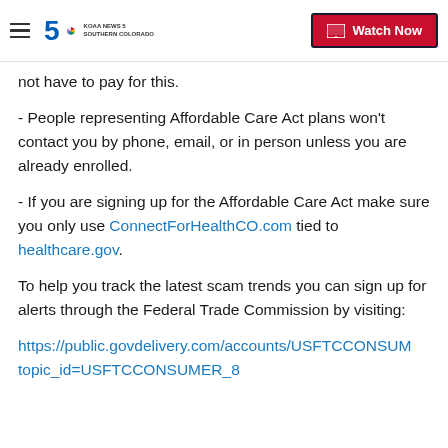KOAA News5 Southern Colorado — Watch Now
not have to pay for this.
- People representing Affordable Care Act plans won't contact you by phone, email, or in person unless you are already enrolled.
- If you are signing up for the Affordable Care Act make sure you only use ConnectForHealthCO.com tied to healthcare.gov.
To help you track the latest scam trends you can sign up for alerts through the Federal Trade Commission by visiting:
https://public.govdelivery.com/accounts/USFTCCONSUM topic_id=USFTCCONSUMER_8